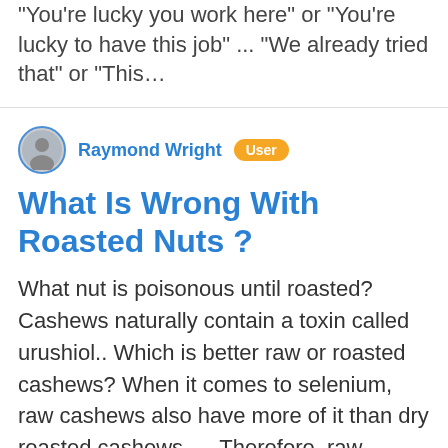“You’re lucky you work here” or “You’re lucky to have this job” ... “We already tried that” or “This…
Raymond Wright  User
What Is Wrong With Roasted Nuts ?
What nut is poisonous until roasted? Cashews naturally contain a toxin called urushiol.. Which is better raw or roasted cashews? When it comes to selenium, raw cashews also have more of it than dry roasted cashews. ... Therefore, raw cashews do have more slightly more iron and selenium than dry roasted cashews, but dry roasted cashews carry much of the same health benefits and come in a very close second. What is the healthiest nut you can eat? The most important...